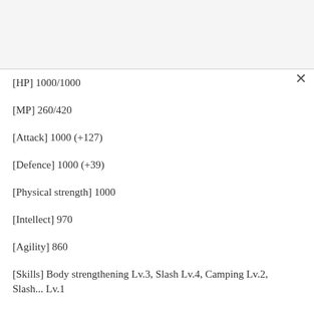[HP] 1000/1000
[MP] 260/420
[Attack] 1000 (+127)
[Defence] 1000 (+39)
[Physical strength] 1000
[Intellect] 970
[Agility] 860
[Skills] Body strengthening Lv.3, Slash Lv.4, Camping Lv.2, Slash... Lv.1